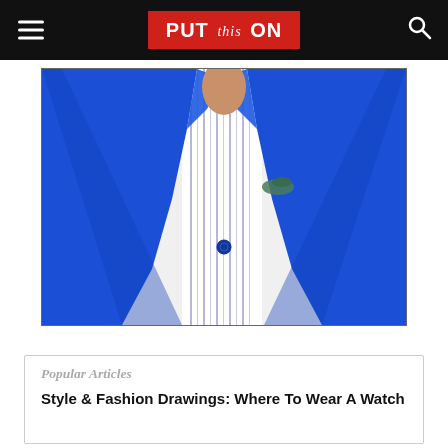PUT this ON
[Figure (photo): Man wearing a bright royal blue blazer with a striped shirt and decorative pocket square, photographed from chest up against white background]
Popular Articles
Style & Fashion Drawings: Where To Wear A Watch